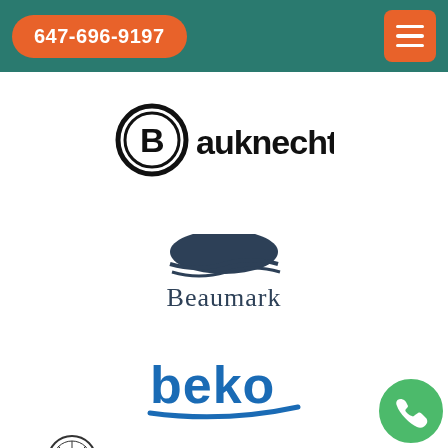647-696-9197
[Figure (logo): Bauknecht brand logo — black circular B mark with 'Bauknecht' text]
[Figure (logo): Beaumark brand logo — dark blue dome/sun icon above 'Beaumark' text]
[Figure (logo): beko brand logo — blue bold lowercase 'beko' text with blue underline stroke]
[Figure (logo): Bertazzoni brand logo — ornate circular crest icon beside 'BERTAZZONI' in wide spaced capitals]